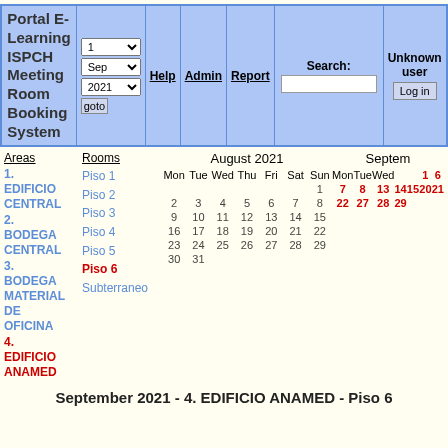[Figure (screenshot): Portal E-Learning ISPCH Meeting Room Booking System header navigation bar with calendar controls, Help, Admin, Report, Search, and Log in]
Areas
Rooms
August 2021
Septem
1. EDIFICIO CENTRAL
2. BODEGA CENTRAL
3. BODEGA MATERIAL DE OFICINA
4. EDIFICIO ANAMED
Piso 1
Piso 2
Piso 3
Piso 4
Piso 5
Piso 6
Subterraneo
September 2021 - 4. EDIFICIO ANAMED - Piso 6